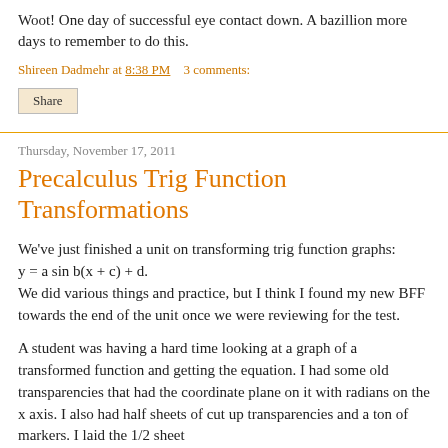Woot! One day of successful eye contact down. A bazillion more days to remember to do this.
Shireen Dadmehr at 8:38 PM   3 comments:
Share
Thursday, November 17, 2011
Precalculus Trig Function Transformations
We've just finished a unit on transforming trig function graphs:
y = a sin b(x + c) + d.
We did various things and practice, but I think I found my new BFF towards the end of the unit once we were reviewing for the test.
A student was having a hard time looking at a graph of a transformed function and getting the equation. I had some old transparencies that had the coordinate plane on it with radians on the x axis. I also had half sheets of cut up transparencies and a ton of markers. I laid the 1/2 sheet